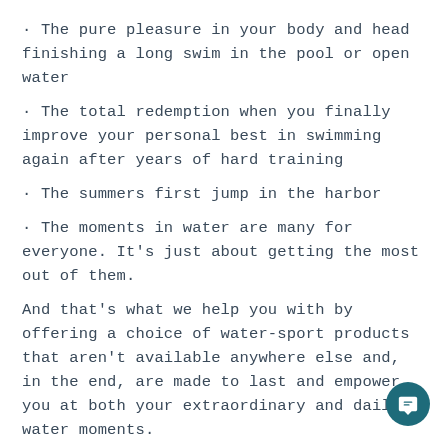· The pure pleasure in your body and head finishing a long swim in the pool or open water
· The total redemption when you finally improve your personal best in swimming again after years of hard training
· The summers first jump in the harbor
· The moments in water are many for everyone. It's just about getting the most out of them.
And that's what we help you with by offering a choice of water-sport products that aren't available anywhere else and, in the end, are made to last and empower you at both your extraordinary and daily water moments.
Read below how our moments in (lots of) pools and oceans ended up with Watery – from the first dip to